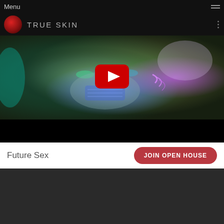Menu
TRUE SKIN
[Figure (screenshot): YouTube video thumbnail showing a cyberpunk figure wearing a futuristic mask with glowing blue elements and neon pink accents, with a red YouTube play button centered on the image]
Future Sex
JOIN OPEN HOUSE